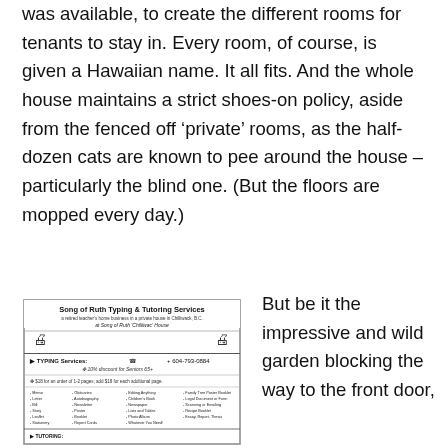was available, to create the different rooms for tenants to stay in. Every room, of course, is given a Hawaiian name. It all fits. And the whole house maintains a strict shoes-on policy, aside from the fenced off ‘private’ rooms, as the half-dozen cats are known to pee around the house – particularly the blind one. (But the floors are mopped every day.)
[Figure (other): Advertisement flyer for Song of Ruth Typing & Tutoring Services, a retired teacher's home business in a private house in Chilliwack, B.C. at Song of Ruth 'Chilliwac' House. Lists typing services with phone number 604-793-0884, 10% discount for Seniors 65+, and various document types including Memo, Letter, Bill, Story, Leaflet, Stationery, and more.]
But be it the impressive and wild garden blocking the way to the front door,